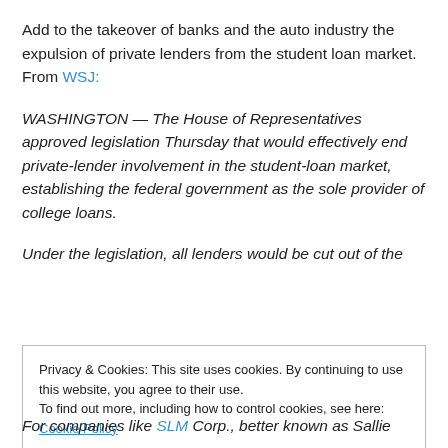Add to the takeover of banks and the auto industry the expulsion of private lenders from the student loan market. From WSJ:
WASHINGTON — The House of Representatives approved legislation Thursday that would effectively end private-lender involvement in the student-loan market, establishing the federal government as the sole provider of college loans.
Under the legislation, all lenders would be cut out of the
Privacy & Cookies: This site uses cookies. By continuing to use this website, you agree to their use.
To find out more, including how to control cookies, see here: Cookie Policy
For companies like SLM Corp., better known as Sallie